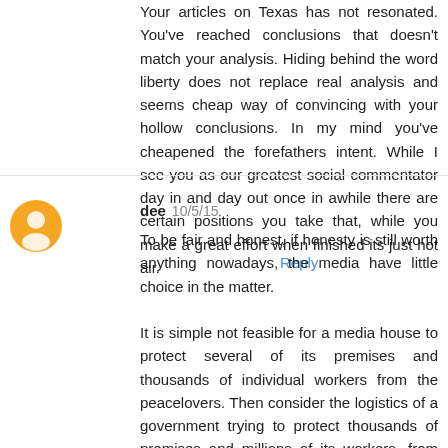Your articles on Texas has not resonated. You've reached conclusions that doesn't match your analysis. Hiding behind the word liberty does not replace real analysis and seems cheap way of convincing with your hollow conclusions. In my mind you've cheapened the forefathers intent. While I see you as our greatest social commentator day in and day out once in awhile there are certain positions you take that, while you make a great effort when finished its just hot air.
Reply
dee 10/5/15
To be fair and honest, if honesty is still worth anything nowadays, the media have little choice in the matter.

It is simple not feasible for a media house to protect several of its premises and thousands of individual workers from the peacelovers. Then consider the logistics of a government trying to protect thousands of premises and millions of its workers, from the same peaceful guys. Now it becomes easier to figure why Western leaders have